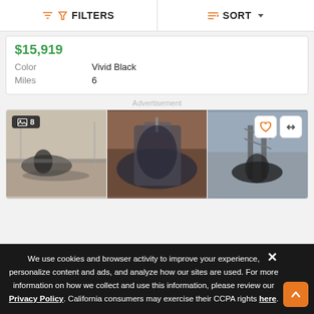FILTERS | SORT
$15,919
Color: Vivid Black
Miles: 6
Advertisement
[Figure (photo): Motorcycle listing photo grid with 3 photos: rider on bridge, covered motorcycle, and front of motorcycle near bridge. Shows image count badge '8', heart/favorite button, and compare button.]
We use cookies and browser activity to improve your experience, personalize content and ads, and analyze how our sites are used. For more information on how we collect and use this information, please review our Privacy Policy. California consumers may exercise their CCPA rights here.